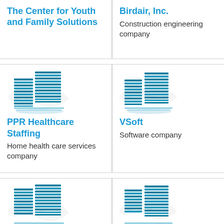The Center for Youth and Family Solutions
Construction engineering company
[Figure (illustration): Building icon for PPR Healthcare Staffing]
PPR Healthcare Staffing
Home health care services company
[Figure (illustration): Building icon for VSoft]
VSoft
Software company
[Figure (illustration): Building icon, bottom-left card (partial)]
[Figure (illustration): Building icon, bottom-right card (partial)]